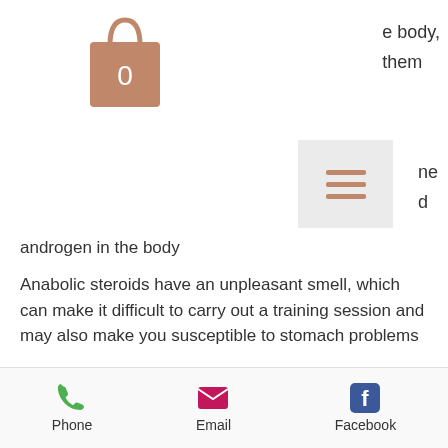[Figure (illustration): Shopping bag icon in brown/terracotta color with the number 0 on it]
e body, them
[Figure (illustration): Hamburger menu icon (three horizontal lines) inside a light gray square box]
ne d
androgen in the body
Anabolic steroids have an unpleasant smell, which can make it difficult to carry out a training session and may also make you susceptible to stomach problems
Anabolic steroid use has been linked to an increase in the risk of cancer, heart attacks and stroke, bulksupplements coupon0.
What is Anavar®?
Phone  Email  Facebook